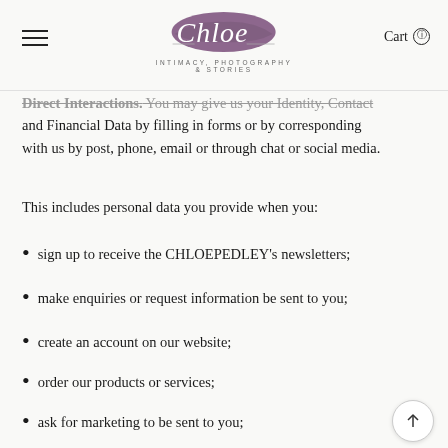Chloe — INTIMACY, PHOTOGRAPHY & STORIES | Cart
Direct Interactions. You may give us your Identity, Contact and Financial Data by filling in forms or by corresponding with us by post, phone, email or through chat or social media.
This includes personal data you provide when you:
sign up to receive the CHLOEPEDLEY's newsletters;
make enquiries or request information be sent to you;
create an account on our website;
order our products or services;
ask for marketing to be sent to you;